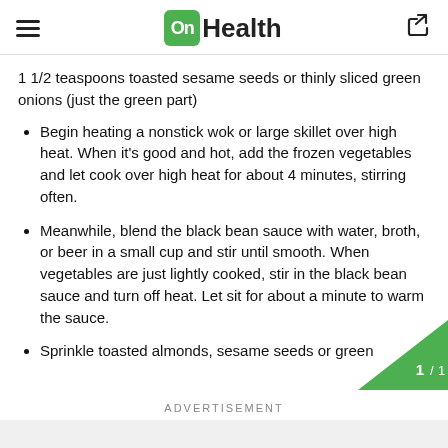OnHealth
1 1/2 teaspoons toasted sesame seeds or thinly sliced green onions (just the green part)
Begin heating a nonstick wok or large skillet over high heat. When it's good and hot, add the frozen vegetables and let cook over high heat for about 4 minutes, stirring often.
Meanwhile, blend the black bean sauce with water, broth, or beer in a small cup and stir until smooth. When vegetables are just lightly cooked, stir in the black bean sauce and turn off heat. Let sit for about a minute to warm the sauce.
Sprinkle toasted almonds, sesame seeds or green…
ADVERTISEMENT